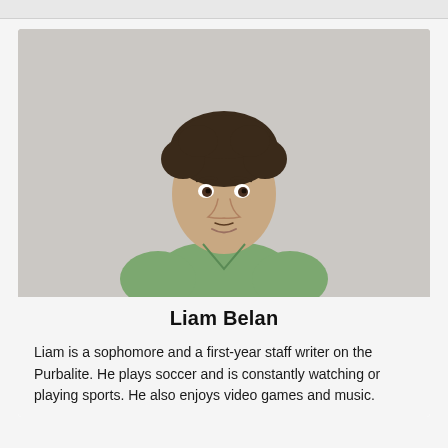[Figure (photo): Portrait photo of Liam Belan, a teenage boy with curly dark hair wearing a green v-neck t-shirt, photographed against a light gray background.]
Liam Belan
Liam is a sophomore and a first-year staff writer on the Purbalite. He plays soccer and is constantly watching or playing sports. He also enjoys video games and music.